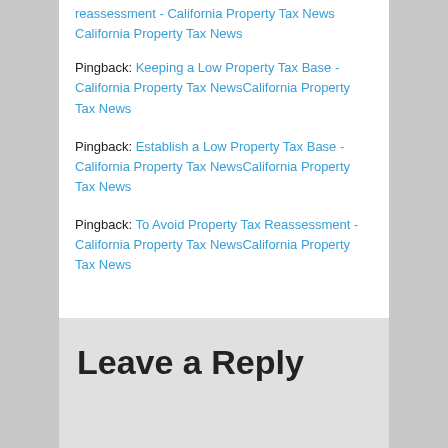reassessment - California Property Tax NewsCalifornia Property Tax News
Pingback: Keeping a Low Property Tax Base - California Property Tax NewsCalifornia Property Tax News
Pingback: Establish a Low Property Tax Base - California Property Tax NewsCalifornia Property Tax News
Pingback: To Avoid Property Tax Reassessment - California Property Tax NewsCalifornia Property Tax News
Leave a Reply